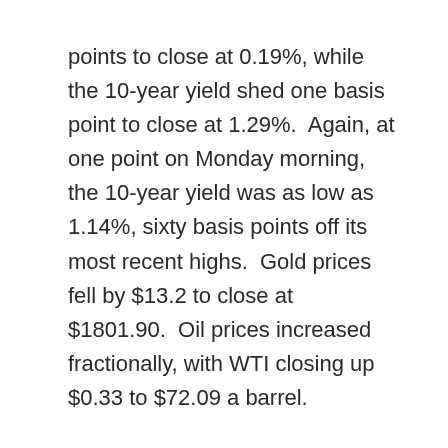points to close at 0.19%, while the 10-year yield shed one basis point to close at 1.29%.  Again, at one point on Monday morning, the 10-year yield was as low as 1.14%, sixty basis points off its most recent highs.  Gold prices fell by $13.2 to close at $1801.90.  Oil prices increased fractionally, with WTI closing up $0.33 to $72.09 a barrel.
Economic data results announced over the week generally missed expectations, Initial Clai…